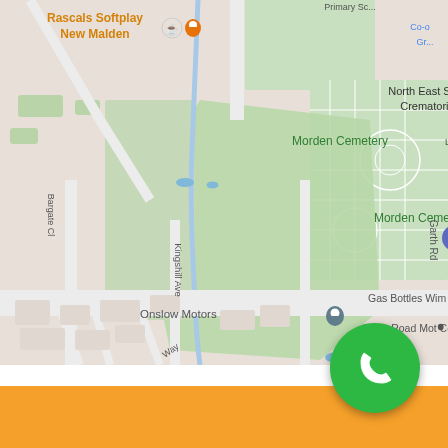[Figure (map): Google Maps view showing North East Surrey Crematorium, Morden Cemetery, Merton & Sutton Joint Cemetery, Green Lane Primary & Nursery School, Onslow Motors, Garth Road Mot Centre, Gas Bottles Wim, Rascals Softplay New Malden, with roads including Kingshill Ave, Garth Rd, Bargate Cl, and a blue waterway running north-south.]